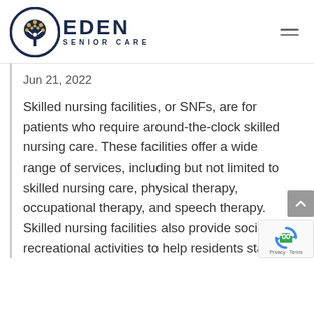EDEN SENIOR CARE
Jun 21, 2022
Skilled nursing facilities, or SNFs, are for patients who require around-the-clock skilled nursing care. These facilities offer a wide range of services, including but not limited to skilled nursing care, physical therapy, occupational therapy, and speech therapy. Skilled nursing facilities also provide social and recreational activities to help residents stay